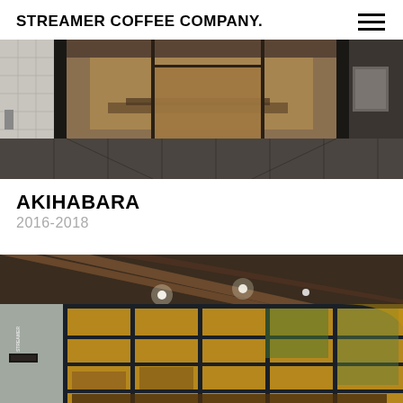STREAMER COFFEE COMPANY.
[Figure (photo): Exterior view of Akihabara Streamer Coffee Company location at night/dusk, showing the entrance with concrete columns, tiled walls, and warm interior lighting visible through glass doors. Urban street scene.]
AKIHABARA
2016-2018
[Figure (photo): Interior/exterior view of a Streamer Coffee Company location showing rustic wooden beam ceiling, large industrial grid windows with dark metal frames, warm amber lighting inside, and a visible 'STREAMER' sign. Features a cozy cafe interior with warm tones.]